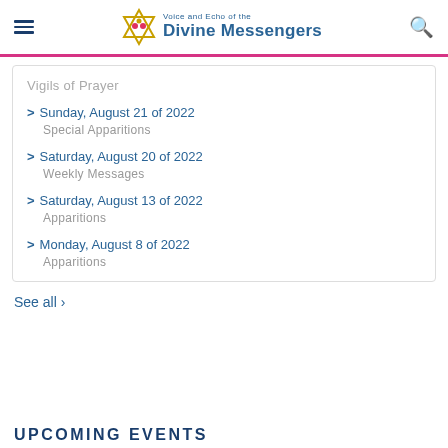Voice and Echo of the Divine Messengers
Vigils of Prayer
Sunday, August 21 of 2022 — Special Apparitions
Saturday, August 20 of 2022 — Weekly Messages
Saturday, August 13 of 2022 — Apparitions
Monday, August 8 of 2022 — Apparitions
See all ›
UPCOMING EVENTS